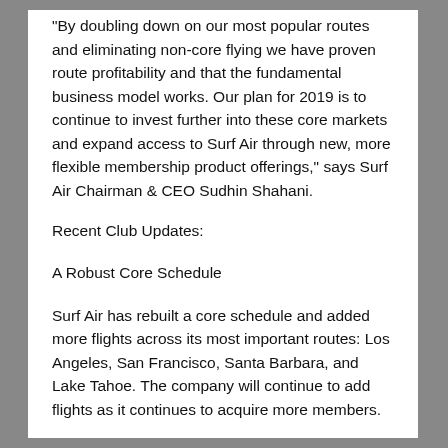"By doubling down on our most popular routes and eliminating non-core flying we have proven route profitability and that the fundamental business model works. Our plan for 2019 is to continue to invest further into these core markets and expand access to Surf Air through new, more flexible membership product offerings," says Surf Air Chairman & CEO Sudhin Shahani.
Recent Club Updates:
A Robust Core Schedule
Surf Air has rebuilt a core schedule and added more flights across its most important routes: Los Angeles, San Francisco, Santa Barbara, and Lake Tahoe. The company will continue to add flights as it continues to acquire more members.
The company will also add back leisure weekend destinations as it makes sense (Las Vegas, Napa, Monterey,